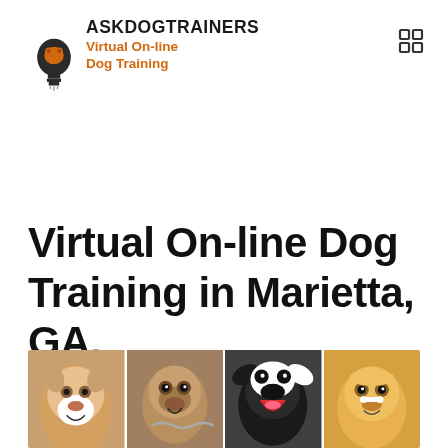[Figure (logo): AskDogTrainers logo: lightbulb with dog silhouette inside, black and orange colors, text 'ASKDOGTRAINERS' in bold black and 'Virtual On-line Dog Training' in orange bold]
[Figure (other): Grid/menu icon in top right corner - 2x2 squares]
Virtual On-line Dog Training in Marietta, GA.
[Figure (photo): Strip of four dog photos side by side: a Corgi, a Pug with chain collar, a black and white dog with mouth open, and a golden/yellow dog with a bone on its nose]